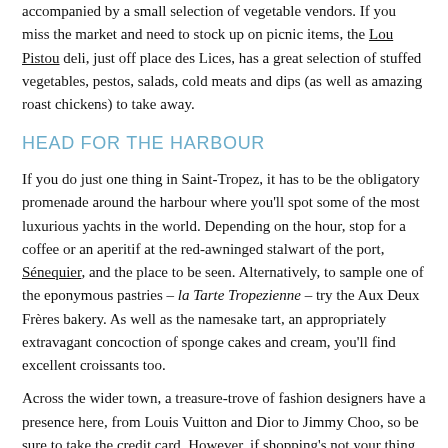accompanied by a small selection of vegetable vendors. If you miss the market and need to stock up on picnic items, the Lou Pistou deli, just off place des Lices, has a great selection of stuffed vegetables, pestos, salads, cold meats and dips (as well as amazing roast chickens) to take away.
HEAD FOR THE HARBOUR
If you do just one thing in Saint-Tropez, it has to be the obligatory promenade around the harbour where you'll spot some of the most luxurious yachts in the world. Depending on the hour, stop for a coffee or an aperitif at the red-awninged stalwart of the port, Sénequier, and the place to be seen. Alternatively, to sample one of the eponymous pastries – la Tarte Tropezienne – try the Aux Deux Frères bakery. As well as the namesake tart, an appropriately extravagant concoction of sponge cakes and cream, you'll find excellent croissants too.
Across the wider town, a treasure-trove of fashion designers have a presence here, from Louis Vuitton and Dior to Jimmy Choo, so be sure to take the credit card. However, if shopping's not your thing, there's plenty more to enjoy besides retail therapy. Highlights